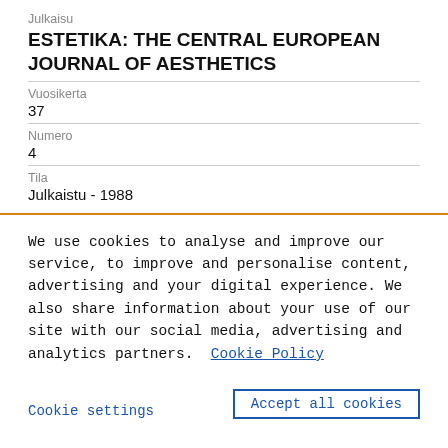Julkaisu
ESTETIKA: THE CENTRAL EUROPEAN JOURNAL OF AESTHETICS
Vuosikerta
37
Numero
4
Tila
Julkaistu - 1988
We use cookies to analyse and improve our service, to improve and personalise content, advertising and your digital experience. We also share information about your use of our site with our social media, advertising and analytics partners.  Cookie Policy
Cookie settings
Accept all cookies